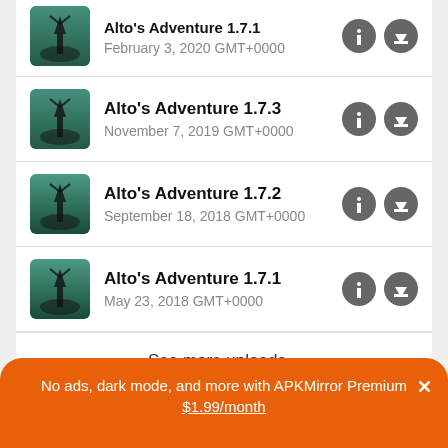Alto's Adventure 1.7.1 - February 3, 2020 GMT+0000 (partial, clipped at top)
Alto's Adventure 1.7.3
November 7, 2019 GMT+0000
Alto's Adventure 1.7.2
September 18, 2018 GMT+0000
Alto's Adventure 1.7.1
May 23, 2018 GMT+0000
See more uploads...
Comments
No ads, dark mode, and more with APKMirror Premium ×
$1.99/month